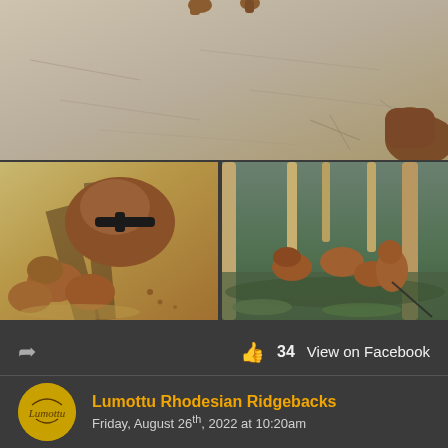[Figure (photo): Top photo: overhead view of dogs' paws/legs on sandy ground with paw prints visible]
[Figure (photo): Bottom left photo: close-up overhead view of Rhodesian Ridgeback puppies on a sandy path, shot from behind handler]
[Figure (photo): Bottom right photo: Rhodesian Ridgeback dogs running in a pine forest with green ground cover]
34   View on Facebook
Lumottu Rhodesian Ridgebacks
Friday, August 26th, 2022 at 10:20am